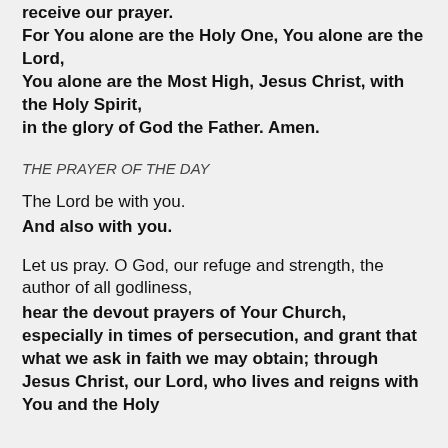receive our prayer. For You alone are the Holy One, You alone are the Lord, You alone are the Most High, Jesus Christ, with the Holy Spirit, in the glory of God the Father. Amen.
THE PRAYER OF THE DAY
The Lord be with you.
And also with you.
Let us pray. O God, our refuge and strength, the author of all godliness, hear the devout prayers of Your Church, especially in times of persecution, and grant that what we ask in faith we may obtain; through Jesus Christ, our Lord, who lives and reigns with You and the Holy